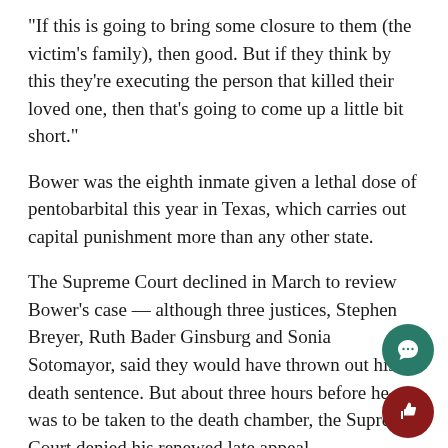“If this is going to bring some closure to them (the victim’s family), then good. But if they think by this they’re executing the person that killed their loved one, then that’s going to come up a little bit short.”
Bower was the eighth inmate given a lethal dose of pentobarbital this year in Texas, which carries out capital punishment more than any other state.
The Supreme Court declined in March to review Bower’s case — although three justices, Stephen Breyer, Ruth Bader Ginsburg and Sonia Sotomayor, said they would have thrown out his death sentence. But about three hours before he was to be taken to the death chamber, the Supreme Court denied his renewed late appeal.
Bower, a chemical salesman from Arlington, was